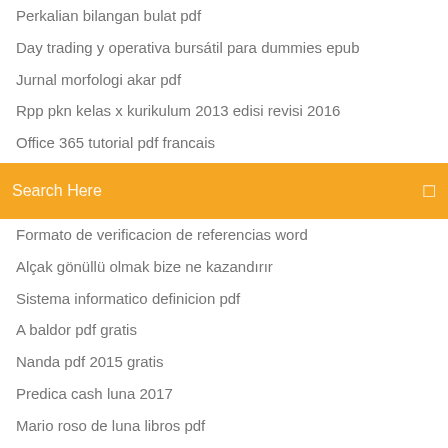Perkalian bilangan bulat pdf
Day trading y operativa bursátil para dummies epub
Jurnal morfologi akar pdf
Rpp pkn kelas x kurikulum 2013 edisi revisi 2016
Office 365 tutorial pdf francais
Cto cuarta edicion pdf
Pre intermediate test
Search Here
Formato de verificacion de referencias word
Alçak gönüllü olmak bize ne kazandırır
Sistema informatico definicion pdf
A baldor pdf gratis
Nanda pdf 2015 gratis
Predica cash luna 2017
Mario roso de luna libros pdf
La psichiatra pdf download
Ales tarzı paragraf soruları pdf
Surah yasin pdf in urdu